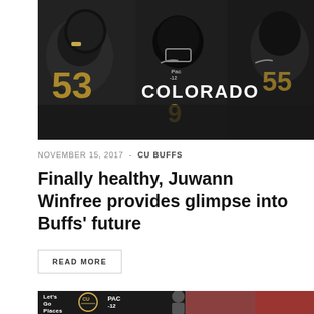[Figure (photo): Colorado Buffaloes football players in black and gold uniforms, including player with COLORADO jersey number 9, on field]
NOVEMBER 15, 2017  -  CU BUFFS
Finally healthy, Juwann Winfree provides glimpse into Buffs' future
READ MORE
[Figure (photo): Colorado Buffs press conference or event photo with Let's Go Places text visible and PAC logo, man speaking at podium with brick building in background]